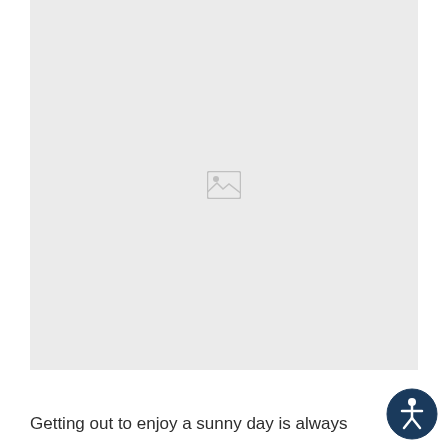[Figure (photo): Broken/missing image placeholder with gray background and image icon in center]
Getting out to enjoy a sunny day is always
[Figure (other): Accessibility (wheelchair/person) icon button in dark navy blue circle, bottom right corner]